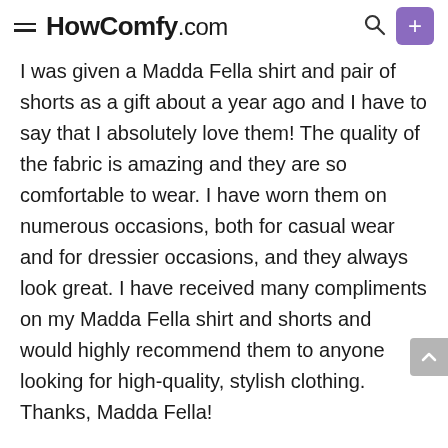HowComfy.com
I was given a Madda Fella shirt and pair of shorts as a gift about a year ago and I have to say that I absolutely love them! The quality of the fabric is amazing and they are so comfortable to wear. I have worn them on numerous occasions, both for casual wear and for dressier occasions, and they always look great. I have received many compliments on my Madda Fella shirt and shorts and would highly recommend them to anyone looking for high-quality, stylish clothing. Thanks, Madda Fella!
Final thoughts
Many people think that discovering difficult fabric t…